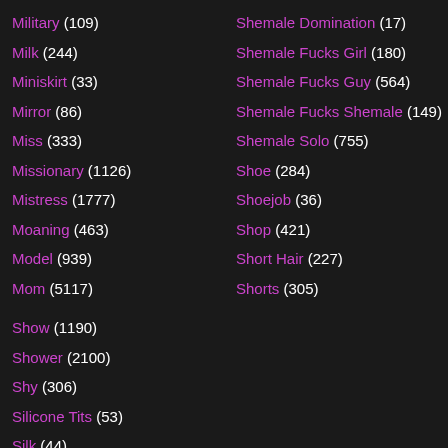Military (109)
Milk (244)
Miniskirt (33)
Mirror (86)
Miss (333)
Missionary (1126)
Mistress (1777)
Moaning (463)
Model (939)
Mom (5117)
Show (1190)
Shower (2100)
Shy (306)
Silicone Tits (53)
Silk (44)
Shemale Domination (17)
Shemale Fucks Girl (180)
Shemale Fucks Guy (564)
Shemale Fucks Shemale (149)
Shemale Solo (755)
Shoe (284)
Shoejob (36)
Shop (421)
Short Hair (227)
Shorts (305)